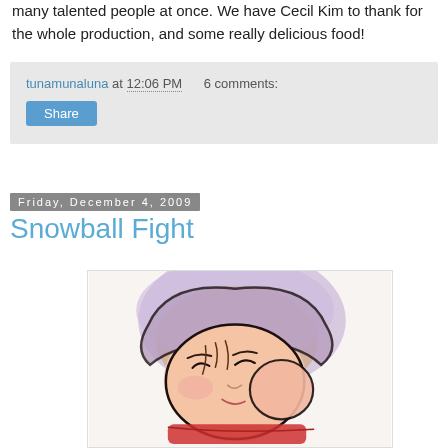many talented people at once. We have Cecil Kim to thank for the whole production, and some really delicious food!
tunamunaluna at 12:06 PM   6 comments:
Share
Friday, December 4, 2009
Snowball Fight
[Figure (illustration): A cartoon illustration of a character with a round face, large eyes, brown hair covered by a light purple/lavender winter hat, and a red scarf, seemingly being hit by or throwing a snowball. Drawn in a comic/manga style with watercolor-like pink and purple tones.]